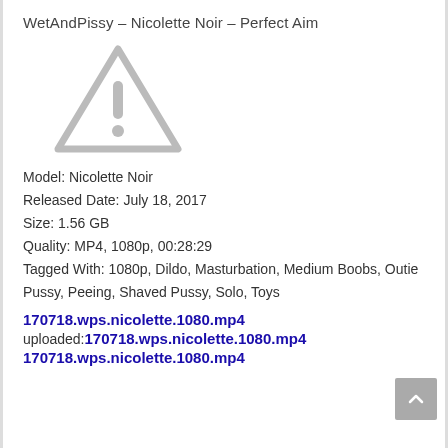WetAndPissy – Nicolette Noir – Perfect Aim
[Figure (illustration): Warning triangle icon with exclamation mark, light gray color, indicating missing or unavailable image/video thumbnail]
Model: Nicolette Noir
Released Date: July 18, 2017
Size: 1.56 GB
Quality: MP4, 1080p, 00:28:29
Tagged With: 1080p, Dildo, Masturbation, Medium Boobs, Outie Pussy, Peeing, Shaved Pussy, Solo, Toys
170718.wps.nicolette.1080.mp4
uploaded:170718.wps.nicolette.1080.mp4
170718.wps.nicolette.1080.mp4